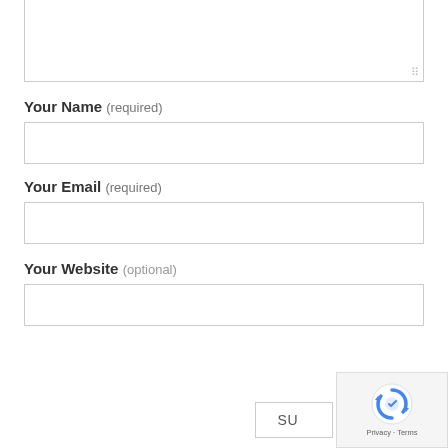[Figure (screenshot): Textarea input box (top portion visible, partially cut off at top) with resize handle at bottom-right corner]
Your Name (required)
[Figure (screenshot): Text input field for Your Name]
Your Email (required)
[Figure (screenshot): Text input field for Your Email]
Your Website (optional)
[Figure (screenshot): Text input field for Your Website]
[Figure (screenshot): Submit button (partially visible) and reCAPTCHA badge overlaid in bottom-right corner showing reCAPTCHA logo and Privacy - Terms text]